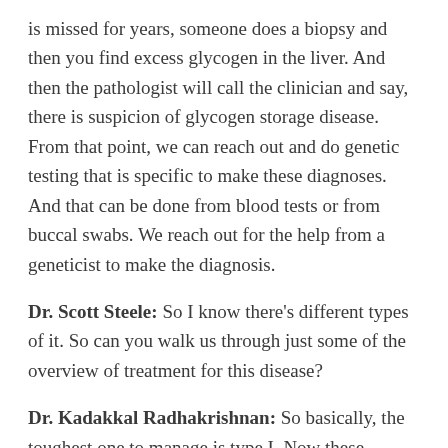is missed for years, someone does a biopsy and then you find excess glycogen in the liver. And then the pathologist will call the clinician and say, there is suspicion of glycogen storage disease. From that point, we can reach out and do genetic testing that is specific to make these diagnoses. And that can be done from blood tests or from buccal swabs. We reach out for the help from a geneticist to make the diagnosis.
Dr. Scott Steele: So I know there’s different types of it. So can you walk us through just some of the overview of treatment for this disease?
Dr. Kadakkal Radhakrishnan: So basically, the toughest one to manage is type I. Now these patients need to be on a regular supplement of a low glycemic source of energy or glucose. So we resort to uncooked or raw corn starch. Why raw corn starch? Because raw corn starch, each molecule of